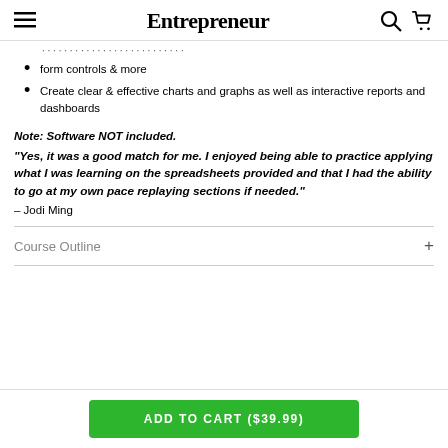Entrepreneur
form controls & more
Create clear & effective charts and graphs as well as interactive reports and dashboards
Note: Software NOT included.
"Yes, it was a good match for me. I enjoyed being able to practice applying what I was learning on the spreadsheets provided and that I had the ability to go at my own pace replaying sections if needed." – Jodi Ming
Course Outline
ADD TO CART ($39.99)